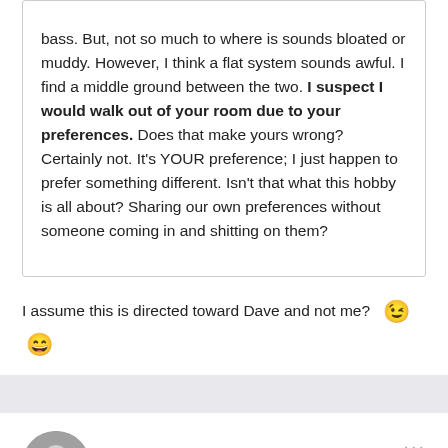bass. But, not so much to where is sounds bloated or muddy. However, I think a flat system sounds awful. I find a middle ground between the two. I suspect I would walk out of your room due to your preferences. Does that make yours wrong? Certainly not. It's YOUR preference; I just happen to prefer something different. Isn't that what this hobby is all about? Sharing our own preferences without someone coming in and shitting on them?
I assume this is directed toward Dave and not me? 😉 😄
Bossobass Dave
Posted March 4, 2017
Hacksaw Ridge: Digits vs Mic'd